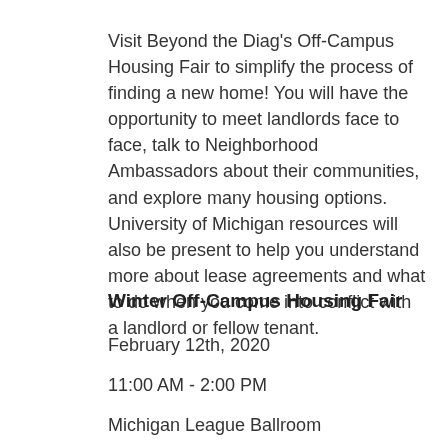Visit Beyond the Diag's Off-Campus Housing Fair to simplify the process of finding a new home! You will have the opportunity to meet landlords face to face, talk to Neighborhood Ambassadors about their communities, and explore many housing options. University of Michigan resources will also be present to help you understand more about lease agreements and what to do when you come into conflict with a landlord or fellow tenant.
Winter Off-Campus Housing Fair
February 12th, 2020
11:00 AM - 2:00 PM
Michigan League Ballroom
Housing opportunities near both north and central